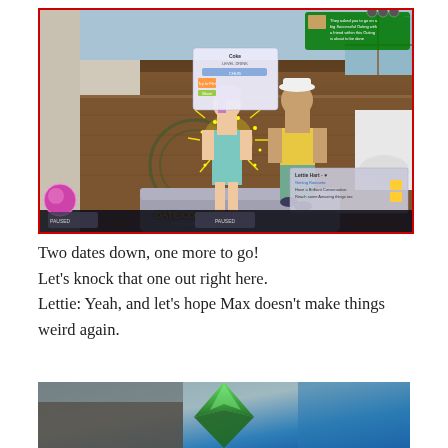[Figure (screenshot): The Sims 4 gameplay screenshot showing two Sim characters in a room with wooden floors. A 'DATE COMPLETE!' notification appears in yellow text with sparkle effects around a female Sim with pink/purple hair. A male Sim in a yellow shirt and hat walks nearby. Game UI elements visible including character panel at bottom left, notifications at top right and bottom right.]
Two dates down, one more to go!
Let's knock that one out right here.
Lettie: Yeah, and let's hope Max doesn't make things weird again.
[Figure (screenshot): Partial screenshot of The Sims 4 loading screen or main menu showing the iconic green Plumbob diamond shape against a blue background, partially cut off at the bottom of the page.]